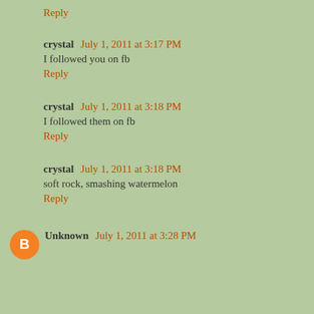Reply
crystal  July 1, 2011 at 3:17 PM
I followed you on fb
Reply
crystal  July 1, 2011 at 3:18 PM
I followed them on fb
Reply
crystal  July 1, 2011 at 3:18 PM
soft rock, smashing watermelon
Reply
Unknown  July 1, 2011 at 3:28 PM